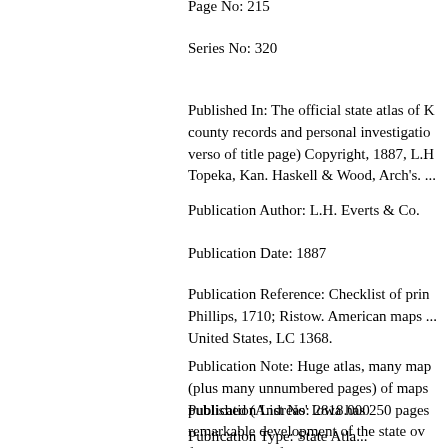Page No: 215
Series No: 320
Published In: The official state atlas of K... county records and personal investigatio... verso of title page) Copyright, 1887, L.H... Topeka, Kan. Haskell & Wood, Arch's. ...
Publication Author: L.H. Everts & Co.
Publication Date: 1887
Publication Reference: Checklist of prin... Phillips, 1710; Ristow. American maps ... United States, LC 1368.
Publication Note: Huge atlas, many map... (plus many unnumbered pages) of maps... published (Andreas' Iowa has 250 pages... remarkable development of the state ove... folding maps of cities are included. Bou... "The Official Atlas Of Kansas 1887" sta...
Publication List No: 2818.000
Publication Type: State Atlas